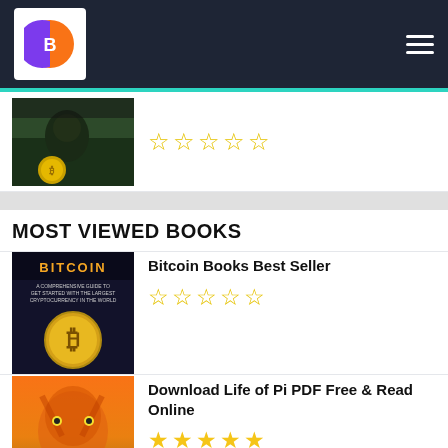[Figure (photo): Partial book cover showing gorilla/animals with gold coin, with 5 empty star rating below]
MOST VIEWED BOOKS
[Figure (photo): Bitcoin book cover - dark background with Bitcoin gold coin]
Bitcoin Books Best Seller
[Figure (photo): Life of Pi book cover - orange/tiger illustration]
Download Life of Pi PDF Free & Read Online
[Figure (photo): The Tyrant Baru Cormorant book cover - dark blue with face]
Download The Tyrant Baru Cormorant by Seth Dickinson